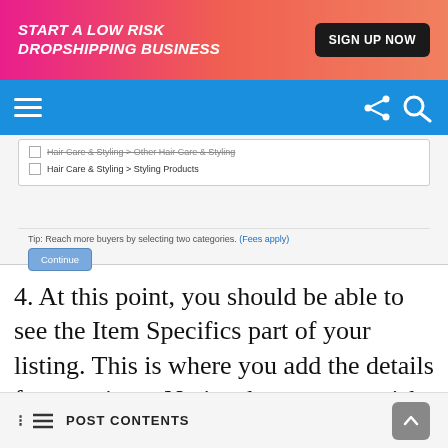[Figure (screenshot): Ad banner with pink-to-salmon gradient. Text: START A LOW RISK DROPSHIPPING BUSINESS with SIGN UP NOW button.]
[Figure (screenshot): Blue navigation bar with hamburger menu icon on left and share/search icons on right.]
[Figure (screenshot): eBay listing category selection UI showing Hair Care & Styling checkboxes, a tip about selecting two categories, and a Continue button.]
4. At this point, you should be able to see the Item Specifics part of your listing. This is where you add the details for your item. Notice the green asterisk in some fields. This means that these fields should NOT be empty. Therefore, you must put an information that represents your item.
POST CONTENTS